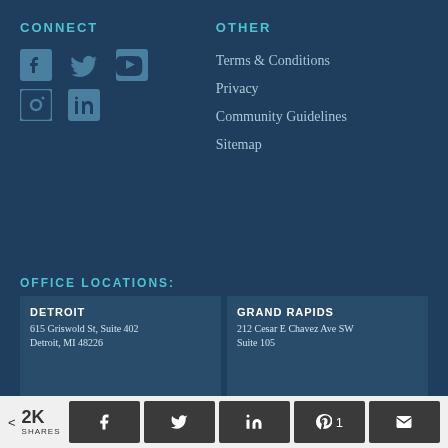CONNECT
[Figure (illustration): Social media icons: Facebook, Twitter, YouTube, Instagram, LinkedIn]
OTHER
Terms & Conditions
Privacy
Community Guidelines
Sitemap
OFFICE LOCATIONS:
DETROIT
615 Griswold St, Suite 402
Detroit, MI 48226
GRAND RAPIDS
212 Cesar E Chavez Ave SW
Suite 105
< 2K SHARES [Facebook] [Twitter] [LinkedIn] [Pinterest 1] [Email]